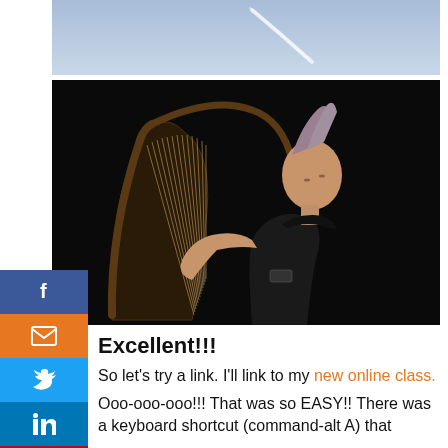[Figure (photo): Blue sky with a white vapor trail / cloud streak]
[Figure (photo): Performer playing a harp on a dark stage, head tilted back, wearing a black outfit]
Excellent!!!
So let's try a link.  I'll link to my new online class.
Ooo-ooo-ooo!!! That was so EASY!!  There was a keyboard shortcut (command-alt A) that